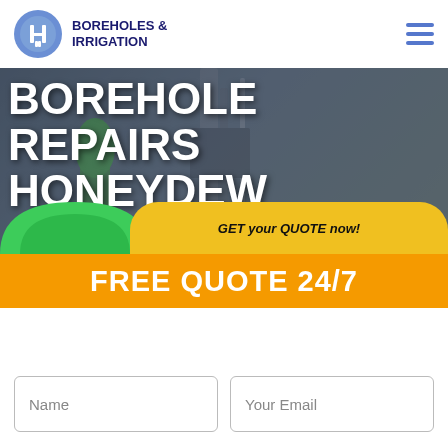BOREHOLES & IRRIGATION
BOREHOLE REPAIRS HONEYDEW
GET your QUOTE now!
FREE QUOTE 24/7
Name
Your Email